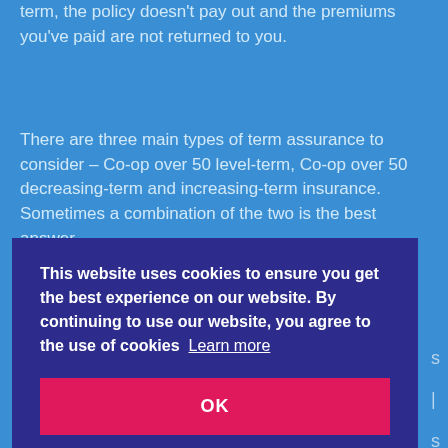term, the policy doesn't pay out and the premiums you've paid are not returned to you.
There are three main types of term assurance to consider – Co-op over 50 level-term, Co-op over 50 decreasing-term and increasing-term insurance. Sometimes a combination of the two is the best answer.
This website uses cookies to ensure you get the best experience on our website. By continuing to use our website, you agree to the use of cookies  Learn more
OK